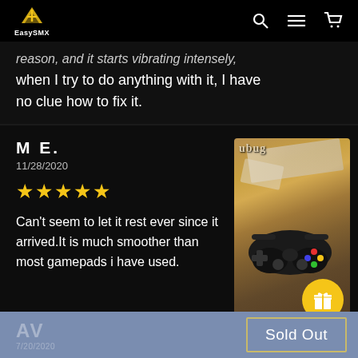EasySMX navigation bar with logo, search, menu, and cart icons
reason, and it starts vibrating intensely, when I try to do anything with it, I have no clue how to fix it.
M E.
11/28/2020
★★★★★
Can't seem to let it rest ever since it arrived.It is much smoother than most gamepads i have used.
[Figure (photo): Photo of a black gaming controller (gamepad) lying on a cardboard/fabric surface with packaging materials. A yellow circular gift badge icon is overlaid in the bottom right corner. Text 'ubug' visible at top of image.]
AV  Sold Out